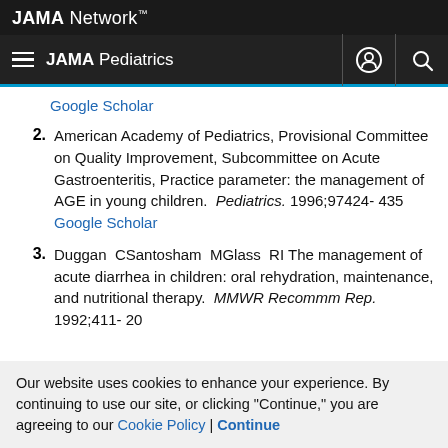JAMA Network™
JAMA Pediatrics
Google Scholar
2. American Academy of Pediatrics, Provisional Committee on Quality Improvement, Subcommittee on Acute Gastroenteritis, Practice parameter: the management of AGE in young children. Pediatrics. 1996;97424- 435 Google Scholar
3. Duggan CSantosham MGlass RI The management of acute diarrhea in children: oral rehydration, maintenance, and nutritional therapy. MMWR Recomm Rep. 1992;411- 20
Our website uses cookies to enhance your experience. By continuing to use our site, or clicking "Continue," you are agreeing to our Cookie Policy | Continue